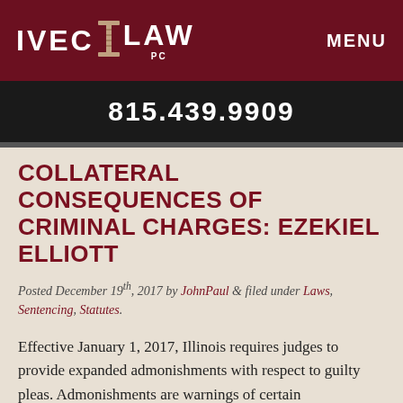[Figure (logo): IVEC LAW PC logo in white text on dark red background with a column/pillar icon between IVEC and LAW]
MENU
815.439.9909
COLLATERAL CONSEQUENCES OF CRIMINAL CHARGES: EZEKIEL ELLIOTT
Posted December 19th, 2017 by JohnPaul & filed under Laws, Sentencing, Statutes.
Effective January 1, 2017, Illinois requires judges to provide expanded admonishments with respect to guilty pleas. Admonishments are warnings of certain consequences read by the judge to a defendant prior to